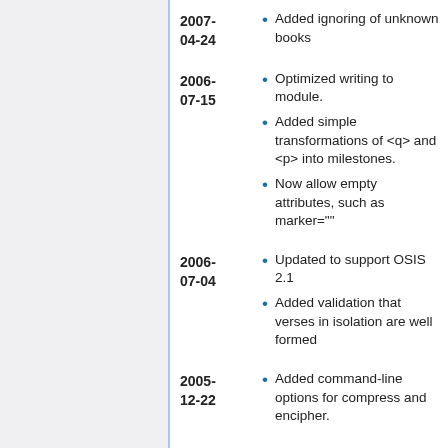2007-04-24: Added ignoring of unknown books
2006-07-15: Optimized writing to module.
2006-07-15: Added simple transformations of <q> and <p> into milestones.
2006-07-15: Now allow empty attributes, such as marker=""
2006-07-04: Updated to support OSIS 2.1
2006-07-04: Added validation that verses in isolation are well formed
2005-12-22: Added command-line options for compress and encipher.